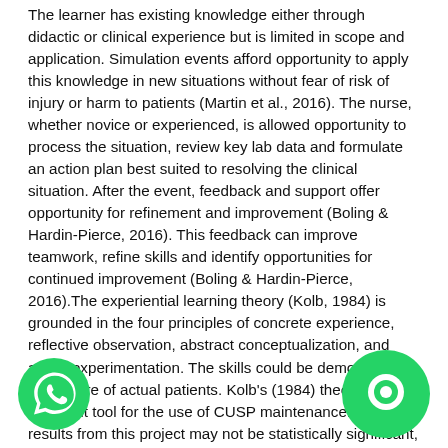The learner has existing knowledge either through didactic or clinical experience but is limited in scope and application. Simulation events afford opportunity to apply this knowledge in new situations without fear of risk of injury or harm to patients (Martin et al., 2016). The nurse, whether novice or experienced, is allowed opportunity to process the situation, review key lab data and formulate an action plan best suited to resolving the clinical situation. After the event, feedback and support offer opportunity for refinement and improvement (Boling & Hardin-Pierce, 2016). This feedback can improve teamwork, refine skills and identify opportunities for continued improvement (Boling & Hardin-Pierce, 2016).The experiential learning theory (Kolb, 1984) is grounded in the four principles of concrete experience, reflective observation, abstract conceptualization, and active experimentation. The skills could be demonstrated in the care of actual patients. Kolb's (1984) theory was an excellent tool for the use of CUSP maintenance. Although results from this project may not be statistically significant, the lack of CLABSI events in one month will demonstrate CUSP CLABSI quality improvement success.Practical implications.Findings from this DPI project will have implications for practice use. The project supports the clinical significance of CUSP CLABSI maintenance to improve patient outcomes and quality nursing care. CUSP CLABSI maintenance provides safe, effective, and constructive practice to
[Figure (logo): WhatsApp phone icon — green circle with white phone handset]
[Figure (logo): Chat bubble icon — green circle with white chat/message symbol]